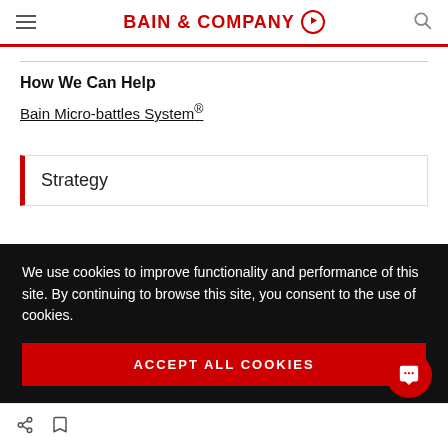BAIN & COMPANY
How We Can Help
Bain Micro-battles System®
Strategy
We use cookies to improve functionality and performance of this site. By continuing to browse this site, you consent to the use of cookies.
ACCEPT ALL COOKIES